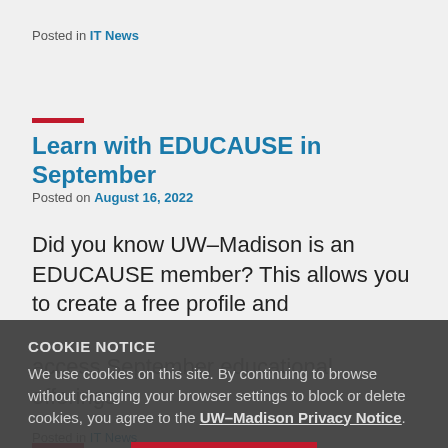Posted in IT News
Learn with EDUCAUSE in September
Posted on August 16, 2022
Did you know UW–Madison is an EDUCAUSE member? This allows you to create a free profile and access September educational offerings.
COOKIE NOTICE
We use cookies on this site. By continuing to browse without changing your browser settings to block or delete cookies, you agree to the UW–Madison Privacy Notice.
GOT IT!